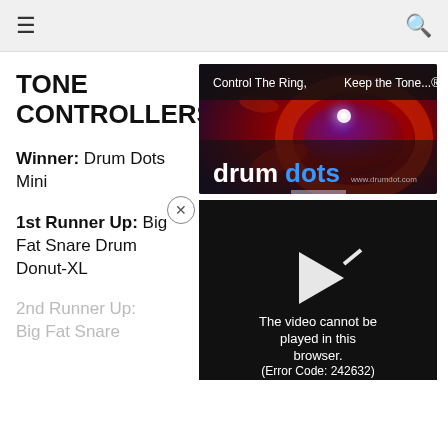≡  🔍
TONE CONTROLLERS
Winner: Drum Dots Mini
1st Runner Up: Big Fat Snare Drum Donut-XL
[Figure (photo): Drumdots product packaging with text 'Control The Ring, Keep the Tone...' and drumdots logo on a colorful drum background]
[Figure (screenshot): Black video player showing error message: 'The video cannot be played in this browser. (Error Code: 242632)']
2nd Runner Up: Big Fat Snare